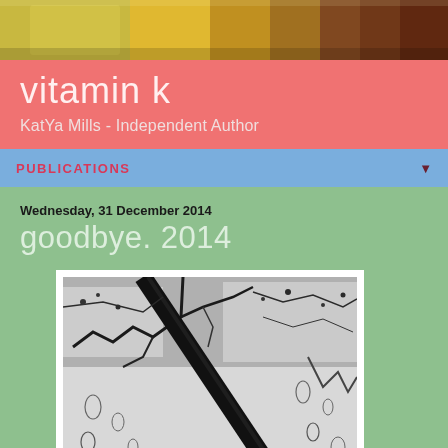[Figure (photo): Header photo showing stacked books or colorful objects in warm yellow, orange, and brown tones]
vitamin k
KatYa Mills - Independent Author
PUBLICATIONS
Wednesday, 31 December 2014
goodbye. 2014
[Figure (photo): Black and white photo of tree branches and rain drops on a window/glass surface, with diagonal streaks]